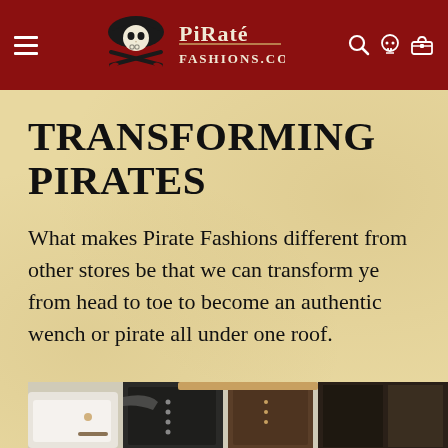Pirate Fashions - navigation header with logo
TRANSFORMING PIRATES
What makes Pirate Fashions different from other stores be that we can transform ye from head to toe to become an authentic wench or pirate all under one roof.
[Figure (photo): Flat lay of pirate costume items including clothing, weapons, accessories spread on white background]